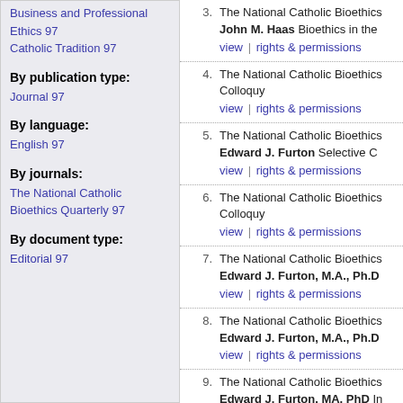Business and Professional Ethics 97
Catholic Tradition 97
By publication type:
Journal 97
By language:
English 97
By journals:
The National Catholic Bioethics Quarterly 97
By document type:
Editorial 97
3. The National Catholic Bioethics — John M. Haas Bioethics in the — view | rights & permissions
4. The National Catholic Bioethics — Colloquy — view | rights & permissions
5. The National Catholic Bioethics — Edward J. Furton Selective C — view | rights & permissions
6. The National Catholic Bioethics — Colloquy — view | rights & permissions
7. The National Catholic Bioethics — Edward J. Furton, M.A., Ph.D — view | rights & permissions
8. The National Catholic Bioethics — Edward J. Furton, M.A., Ph.D — view | rights & permissions
9. The National Catholic Bioethics — Edward J. Furton, MA, PhD In